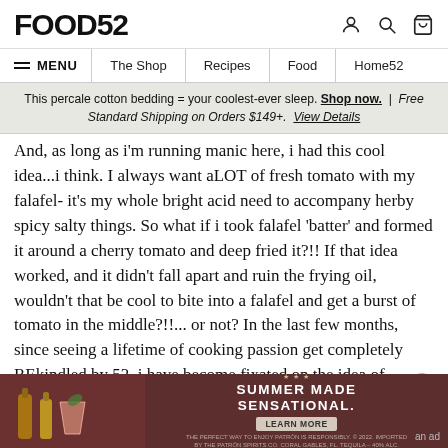FOOD52
MENU | The Shop | Recipes | Food | Home52
This percale cotton bedding = your coolest-ever sleep. Shop now. | Free Standard Shipping on Orders $149+. View Details
And, as long as i'm running manic here, i had this cool idea...i think. I always want aLOT of fresh tomato with my falafel- it's my whole bright acid need to accompany herby spicy salty things. So what if i took falafel 'batter' and formed it around a cherry tomato and deep fried it?!! If that idea worked, and it didn't fall apart and ruin the frying oil, wouldn't that be cool to bite into a falafel and get a burst of tomato in the middle?!!... or not? In the last few months, since seeing a lifetime of cooking passion get completely REkindled by 52, i have become fixated on the idea of (hidden) fillings. Fillings as an element of surprise. You can't see them, you bite into something you think is 'B', but you find out it is B but
[Figure (screenshot): Advertisement banner: Summer Made Sensational - Patron spirits ad with cocktail drinks imagery on dark red background]